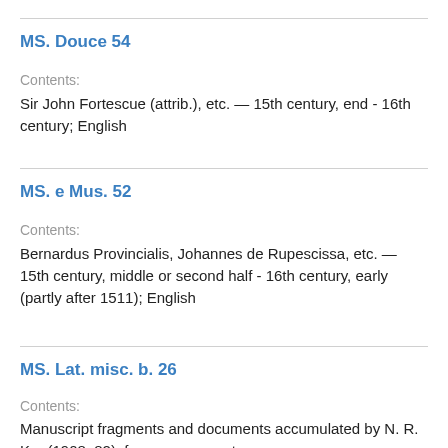MS. Douce 54
Contents:
Sir John Fortescue (attrib.), etc. — 15th century, end - 16th century; English
MS. e Mus. 52
Contents:
Bernardus Provincialis, Johannes de Rupescissa, etc. — 15th century, middle or second half - 16th century, early (partly after 1511); English
MS. Lat. misc. b. 26
Contents:
Manuscript fragments and documents accumulated by N. R. Ker (1908–82), from sources not now